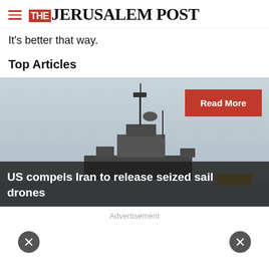THE JERUSALEM POST
It's better that way.
Top Articles
[Figure (photo): Naval ship silhouette against a grey sky, with a red 'Read More' button overlay in the top right, and a dark overlay at the bottom with article headline text: 'US compels Iran to release seized sail drones']
US compels Iran to release seized sail drones
Advertisement